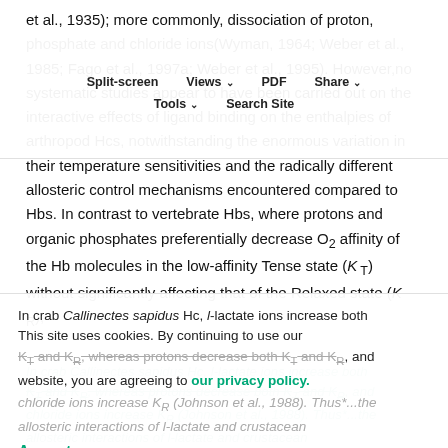et al., 1935); more commonly, dissociation of proton, phosphate and chloride ions(Wyman, 1964; Weber et al., 1985; Fago et al., 1997a; Weber et al., 1995). However, no systematic studies appear to have been carried out on the interactive effects of ligand binding on the enthalpies of arthropod Hcs, notwithstanding the enormous variation in their temperature sensitivities and the radically different allosteric control mechanisms encountered compared to Hbs. In contrast to vertebrate Hbs, where protons and organic phosphates preferentially decrease O₂ affinity of the Hb molecules in the low-affinity Tense state (K_T) without significantly affecting that of the Relaxed state (K_R),
Split-screen | Views | PDF | Share | Tools | Search Site
In crab Callinectes sapidus Hc, L-lactate ions increase both K_T and K_R, whereas protons decrease both K_T and K_R, and chloride ions increase K_R (Johnson et al., 1988). Thus...the allosteric interactions of L-lactate and crustacean
This site uses cookies. By continuing to use our website, you are agreeing to our privacy policy. Accept